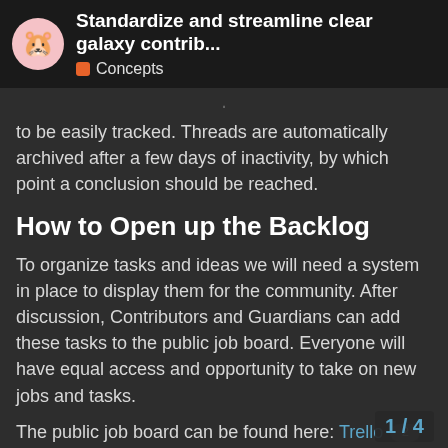Standardize and streamline clear galaxy contrib... | Concepts
to be easily tracked. Threads are automatically archived after a few days of inactivity, by which point a conclusion should be reached.
How to Open up the Backlog
To organize tasks and ideas we will need a system in place to display them for the community. After discussion, Contributors and Guardians can add these tasks to the public job board. Everyone will have equal access and opportunity to take on new jobs and tasks.
The public job board can be found here: Trello 2
To participate in the public job board Members will need to:
Select a job they are interested in working on and open it
Find the contact for the job and ping discord server in the relevant Galaxy
1 / 4